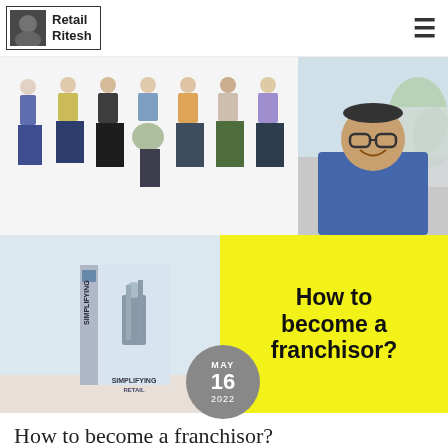Retail Ritesh
[Figure (photo): Fashion illustration showing multiple stylized figures in various outfits (left) and a smiling man with glasses in a blue jacket (right)]
[Figure (photo): Book titled 'Simplifying Retail' on a surface (left) with yellow background panel showing title text 'How to become a franchisor?' and a gray date circle showing MAY 16 2022]
How to become a franchisor?